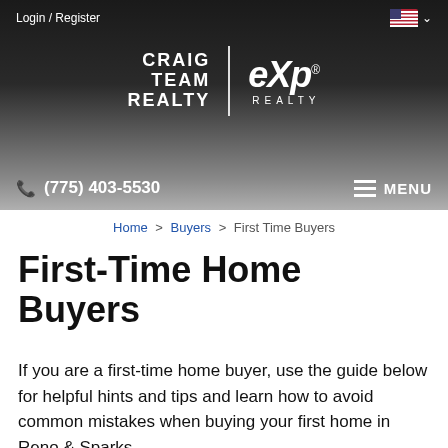Login / Register
[Figure (logo): Craig Team Realty eXp Realty logo with vertical divider, white text on dark background]
(775) 403-5530   MENU
Home > Buyers > First Time Buyers
First-Time Home Buyers
If you are a first-time home buyer, use the guide below for helpful hints and tips and learn how to avoid common mistakes when buying your first home in Reno & Sparks.